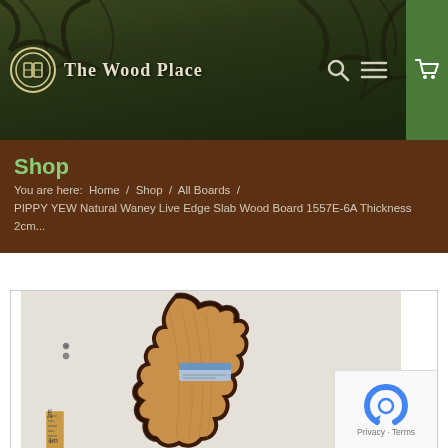The Wood Place
Shop
You are here:  Home  /  Shop  /  All Boards  /  PIPPY YEW Natural Waney Live Edge Slab Wood Board 1557E-6A Thickness 2cm...
[Figure (photo): Product photo of a Pippy Yew natural waney live edge slab wood board standing upright against a white wall, with a wooden ruler visible at the bottom left for scale. The board shows natural bark edges and warm honey-coloured wood grain.]